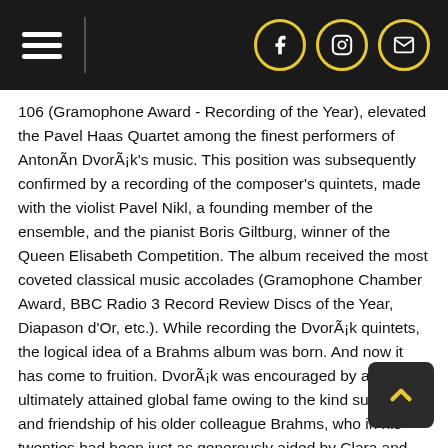Navigation menu and social media icons (Facebook, Instagram, Email)
106 (Gramophone Award - Recording of the Year), elevated the Pavel Haas Quartet among the finest performers of Antonín Dvořák's music. This position was subsequently confirmed by a recording of the composer's quintets, made with the violist Pavel Nikl, a founding member of the ensemble, and the pianist Boris Giltburg, winner of the Queen Elisabeth Competition. The album received the most coveted classical music accolades (Gramophone Chamber Award, BBC Radio 3 Record Review Discs of the Year, Diapason d'Or, etc.). While recording the Dvořák quintets, the logical idea of a Brahms album was born. And now it has come to fruition. Dvořák was encouraged by and ultimately attained global fame owing to the kind support and friendship of his older colleague Brahms, who in his twenties had been just as generously aided by Clara and Robert Schumann. Brahms' relationship with Clara is probably also behind the Piano Quintet in F minor, Op. 34. Originally conceived as a string quintet, in the spring of 1864 Brahms transformed it into a sonata for two pianos, yet Clara voiced her doubts about this version's sound too. The desired contrast and richness of color was ultimately achieved by combining the strings and the piano. Clara Schumann performed the piano part at the private premiere of the quintet, which she referred to as having "symphonic"